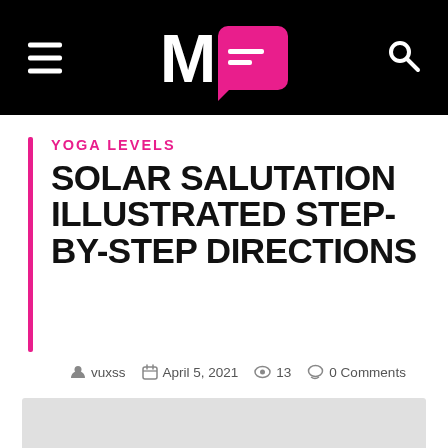M= [logo with speech bubble] — hamburger menu and search icon
YOGA LEVELS
SOLAR SALUTATION ILLUSTRATED STEP-BY-STEP DIRECTIONS
vuxss  April 5, 2021  13  0 Comments
[Figure (other): Gray placeholder strip at bottom of page]